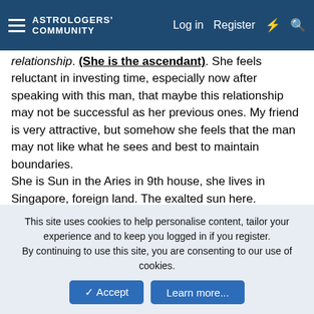ASTROLOGERS COMMUNITY  Log in  Register
relationship. (She is the ascendant). She feels reluctant in investing time, especially now after speaking with this man, that maybe this relationship may not be successful as her previous ones. My friend is very attractive, but somehow she feels that the man may not like what he sees and best to maintain boundaries.
She is Sun in the Aries in 9th house, she lives in Singapore, foreign land. The exalted sun here. She/Moon is also exalted in 12th and stays hidden from him.
Both venus and mercury conjunct MC, not sure what this means.
I am not sure if put this man as 5th or 7th. However to look at a serious relationship, if I take 7th, he would be Saturn, with Jupiter in his house. Jupiter rules his 2nd and 11th, so finances and his friends, his jokLt/Saturn being in his 12th. Sat...
This site uses cookies to help personalise content, tailor your experience and to keep you logged in if you register.
By continuing to use this site, you are consenting to our use of cookies.